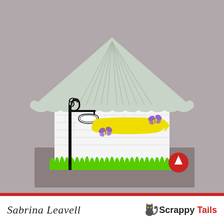[Figure (photo): A handmade paper craft house (gift box) with a light grey scalloped roof with vertical score lines, white brick-patterned walls, green grass cut-outs along the base, a black decorative lamp post on the left with a blank ornate sign hanging from it, a yellow decorative banner/label in the center, and purple butterfly embellishments. The background is a grey-brown surface.]
Sabrina Leavell
[Figure (logo): Scrappy Tails logo with a cat silhouette and red/black text]